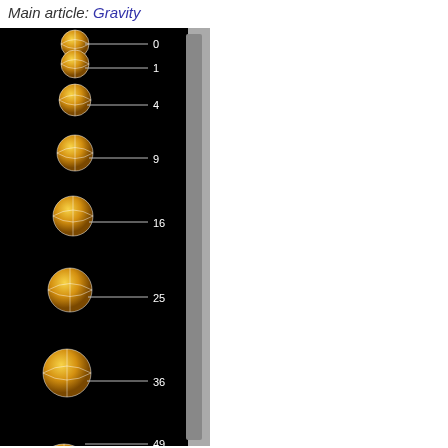Main article: Gravity
[Figure (illustration): A sequence of basketball-like yellow spheres falling against a black background, with horizontal white lines and numbers indicating distance fallen in arbitrary units: 0, 1, 4, 9, 16, 25, 36, 49, 64. The balls are clustered close together at top (showing small distance in early time steps) and increasingly spaced apart lower down (showing acceleration due to gravity).]